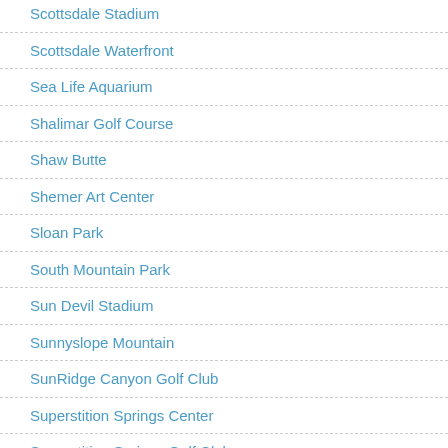Scottsdale Stadium
Scottsdale Waterfront
Sea Life Aquarium
Shalimar Golf Course
Shaw Butte
Shemer Art Center
Sloan Park
South Mountain Park
Sun Devil Stadium
Sunnyslope Mountain
SunRidge Canyon Golf Club
Superstition Springs Center
Superstition Springs Golf Club